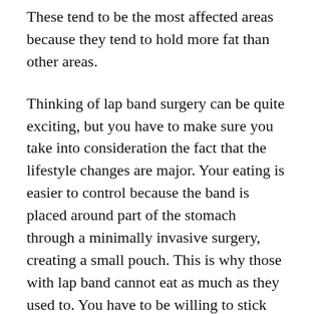These tend to be the most affected areas because they tend to hold more fat than other areas.
Thinking of lap band surgery can be quite exciting, but you have to make sure you take into consideration the fact that the lifestyle changes are major. Your eating is easier to control because the band is placed around part of the stomach through a minimally invasive surgery, creating a small pouch. This is why those with lap band cannot eat as much as they used to. You have to be willing to stick with your portions and change the food you eat. This means minimal junk food.
While a nutritious Bariatric program...